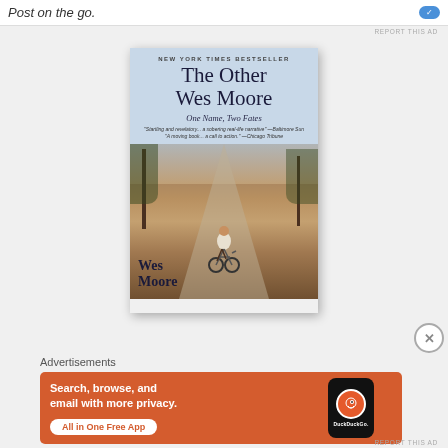Post on the go.
[Figure (illustration): Book cover of 'The Other Wes Moore: One Name, Two Fates' by Wes Moore. New York Times Bestseller. Shows a child riding a bicycle down a suburban street, viewed from behind.]
Advertisements
[Figure (screenshot): DuckDuckGo advertisement: 'Search, browse, and email with more privacy. All in One Free App' with DuckDuckGo logo on a phone mockup, orange background.]